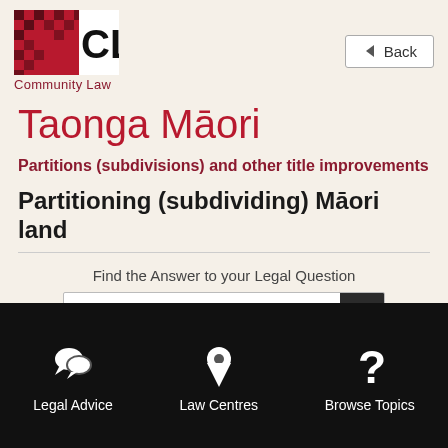[Figure (logo): Community Law logo with CL letters on a Māori pattern background and 'Community Law' text below]
[Figure (screenshot): Back button with left arrow]
Taonga Māori
Partitions (subdivisions) and other title improvements
Partitioning (subdividing) Māori land
Find the Answer to your Legal Question
Search the Community Law Manual...
Legal Advice   Law Centres   Browse Topics